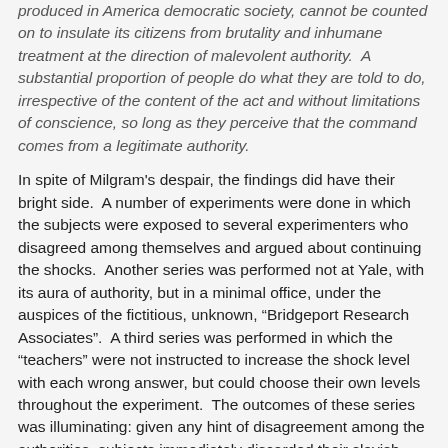produced in America democratic society, cannot be counted on to insulate its citizens from brutality and inhumane treatment at the direction of malevolent authority. A substantial proportion of people do what they are told to do, irrespective of the content of the act and without limitations of conscience, so long as they perceive that the command comes from a legitimate authority.
In spite of Milgram's despair, the findings did have their bright side. A number of experiments were done in which the subjects were exposed to several experimenters who disagreed among themselves and argued about continuing the shocks. Another series was performed not at Yale, with its aura of authority, but in a minimal office, under the auspices of the fictitious, unknown, “Bridgeport Research Associates”. A third series was performed in which the “teachers” were not instructed to increase the shock level with each wrong answer, but could choose their own levels throughout the experiment. The outcomes of these series was illuminating: given any hint of disagreement among the authorities, subjects immediately discarded their slavish obedience, and were no longer willing to engage in behavior the of each really questions ble. When authority...